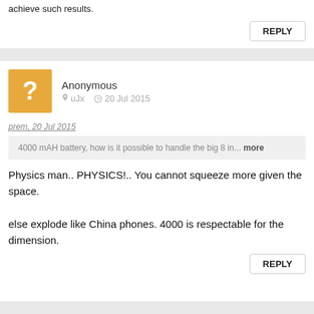achieve such results.
REPLY
Anonymous  uJx  20 Jul 2015
prem, 20 Jul 2015
4000 mAH battery, how is it possible to handle the big 8 in... more
Physics man.. PHYSICS!.. You cannot squeeze more given the space.

else explode like China phones. 4000 is respectable for the dimension.
REPLY